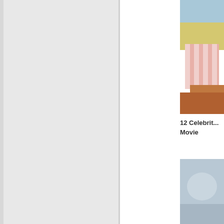[Figure (photo): Partial view of a grey/light colored content block or sidebar on the left side of the page]
[Figure (photo): Close-up photo showing what appears to be a beach scene with sand and a striped fabric item, warm tones with blue sky visible at top]
12 Celebrit... Movie
[Figure (photo): Blurry/misty photo with pale blue-grey tones, indistinct subject]